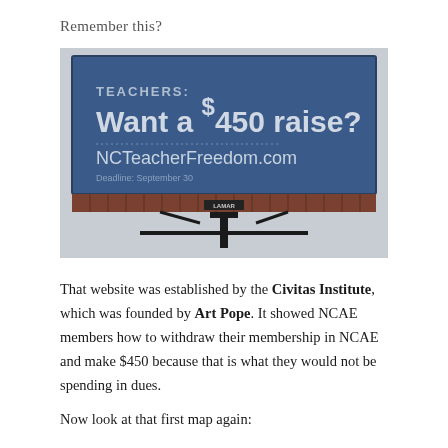Remember this?
[Figure (photo): Photograph of a billboard with a blue background reading: TEACHERS: Want a $450 raise? NCTeacherFreedom.com Deadline: September 30. LAMAR branding visible at the bottom of the billboard structure.]
That website was established by the Civitas Institute, which was founded by Art Pope. It showed NCAE members how to withdraw their membership in NCAE and make $450 because that is what they would not be spending in dues.
Now look at that first map again: